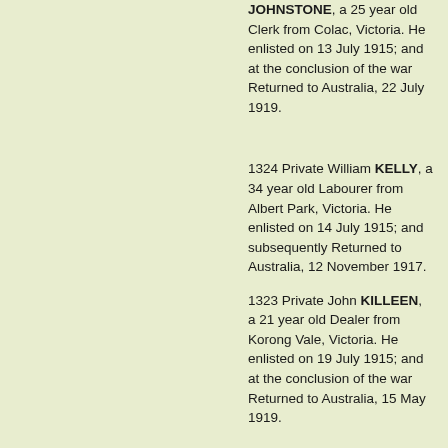JOHNSTONE, a 25 year old Clerk from Colac, Victoria. He enlisted on 13 July 1915; and at the conclusion of the war Returned to Australia, 22 July 1919.
1324 Private William KELLY, a 34 year old Labourer from Albert Park, Victoria. He enlisted on 14 July 1915; and subsequently Returned to Australia, 12 November 1917.
1323 Private John KILLEEN, a 21 year old Dealer from Korong Vale, Victoria. He enlisted on 19 July 1915; and at the conclusion of the war Returned to Australia, 15 May 1919.
Lieutenant Harold Harcanute Herbert LOCKE, a 35 year old Station Manager from Euroa, Victoria. He enlisted on 26 July 1915; and subsequently